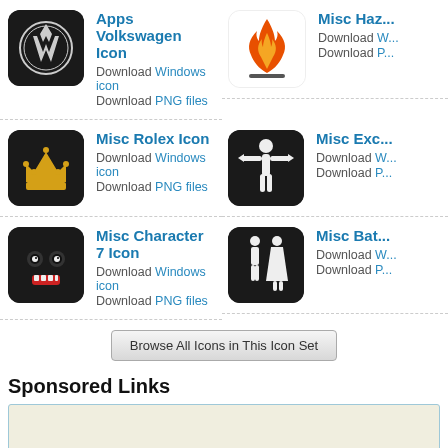[Figure (illustration): Apps Volkswagen Icon - black rounded square with VW logo]
Apps Volkswagen Icon
Download Windows icon
Download PNG files
[Figure (illustration): Misc Hazard Icon - flame on white background]
Misc Haz...
Download Windows icon
Download PNG files
[Figure (illustration): Misc Rolex Icon - crown on black background]
Misc Rolex Icon
Download Windows icon
Download PNG files
[Figure (illustration): Misc Exc... Icon - person on black background]
Misc Exc...
Download Windows icon
Download PNG files
[Figure (illustration): Misc Character 7 Icon - robot face on black background]
Misc Character 7 Icon
Download Windows icon
Download PNG files
[Figure (illustration): Misc Bat... Icon - restroom figures on black background]
Misc Bat...
Download Windows icon
Download PNG files
Browse All Icons in This Icon Set
Sponsored Links